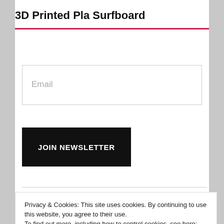3D Printed Pla Surfboard
[Figure (screenshot): Email input field with placeholder text 'Email']
[Figure (screenshot): Black button labeled 'JOIN NEWSLETTER']
Privacy & Cookies: This site uses cookies. By continuing to use this website, you agree to their use.
To find out more, including how to control cookies, see here: Cookie Policy
[Figure (screenshot): Gray 'Close and accept' button]
[Figure (photo): Two hands holding a piece of PLA filament or printed material, split into two partial photos]